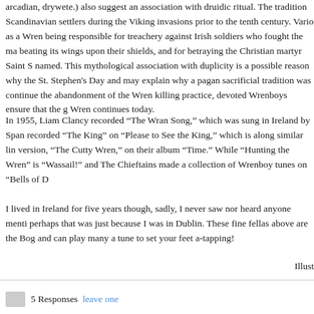arcadian, drywete.) also suggest an association with druidic ritual. The tradition Scandinavian settlers during the Viking invasions prior to the tenth century. Vario as a Wren being responsible for treachery against Irish soldiers who fought the ma beating its wings upon their shields, and for betraying the Christian martyr Saint S named. This mythological association with duplicity is a possible reason why the St. Stephen's Day and may explain why a pagan sacrificial tradition was continue the abandonment of the Wren killing practice, devoted Wrenboys ensure that the g Wren continues today.
In 1955, Liam Clancy recorded “The Wran Song,” which was sung in Ireland by Span recorded “The King” on “Please to See the King,” which is along similar lin version, “The Cutty Wren,” on their album “Time.” While “Hunting the Wren” is “Wassail!” and The Chieftains made a collection of Wrenboy tunes on “Bells of D
I lived in Ireland for five years though, sadly, I never saw nor heard anyone menti perhaps that was just because I was in Dublin. These fine fellas above are the Bog and can play many a tune to set your feet a-tapping!
Illust
5 Responses  leave one